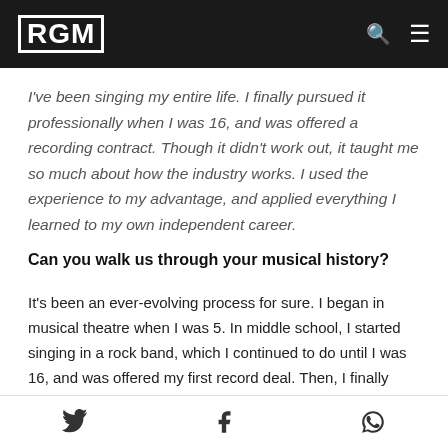RGM
I've been singing my entire life. I finally pursued it professionally when I was 16, and was offered a recording contract. Though it didn't work out, it taught me so much about how the industry works. I used the experience to my advantage, and applied everything I learned to my own independent career.
Can you walk us through your musical history?
It's been an ever-evolving process for sure. I began in musical theatre when I was 5. In middle school, I started singing in a rock band, which I continued to do until I was 16, and was offered my first record deal. Then, I finally transitioned to pop music. Each one was a learning process.
Twitter | Facebook | WhatsApp